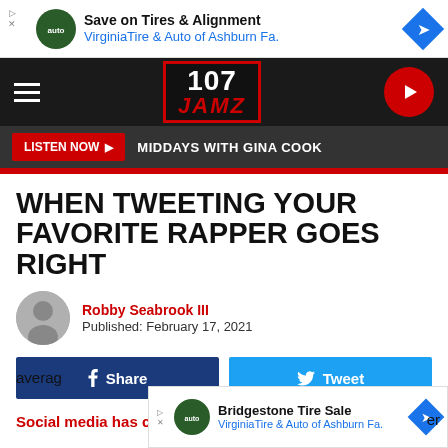[Figure (screenshot): Advertisement banner: Save on Tires & Alignment, Virginia Tire & Auto of Ashburn Fa.]
[Figure (logo): 107 JAMZ radio station logo in red and white on dark background]
LISTEN NOW ▶  MIDDAYS WITH GINA COOK
WHEN TWEETING YOUR FAVORITE RAPPER GOES RIGHT
Robby Seabrook III
Published: February 17, 2021
[Figure (infographic): Facebook Share button and Twitter Tweet button]
Social media has changed how we communicate with each other. averag er
[Figure (screenshot): Advertisement: Bridgestone Tire Sale, Virginia Tire & Auto of Ashburn Fa.]